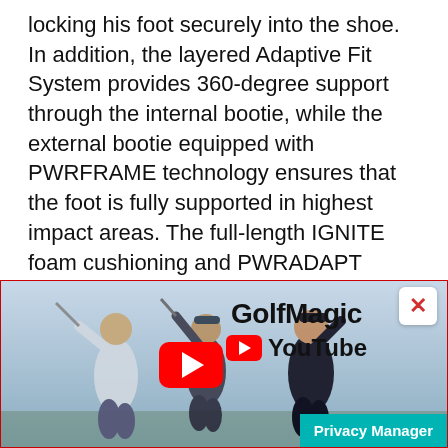locking his foot securely into the shoe. In addition, the layered Adaptive Fit System provides 360-degree support through the internal bootie, while the external bootie equipped with PWRFRAME technology ensures that the foot is fully supported in highest impact areas. The full-length IGNITE foam cushioning and PWRADAPT Technology sole provide responsive comfort and 3-dimensional traction that adapts to the way a golfer moves.
In terms of style, both the lace and DISC version of CAGED feature an Epic Tour Last - a refined, anatomical last shaping that delivers excellent f...
[Figure (screenshot): GolfMagic YouTube advertisement banner with golfers silhouette, YouTube play button, GolfMagic brand text and YouTube logo. A red X close button appears at top right. A teal Privacy Manager button appears at bottom right.]